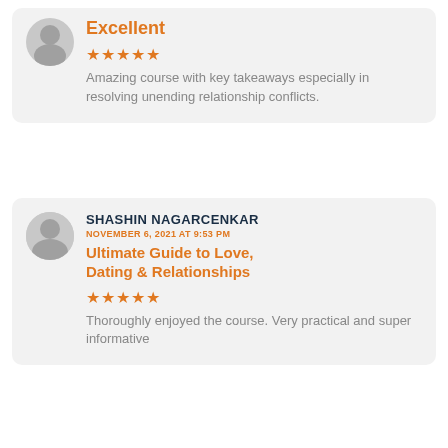Excellent
★★★★★
Amazing course with key takeaways especially in resolving unending relationship conflicts.
SHASHIN NAGARCENKAR
NOVEMBER 6, 2021 AT 9:53 PM
Ultimate Guide to Love, Dating & Relationships
★★★★★
Thoroughly enjoyed the course. Very practical and super informative